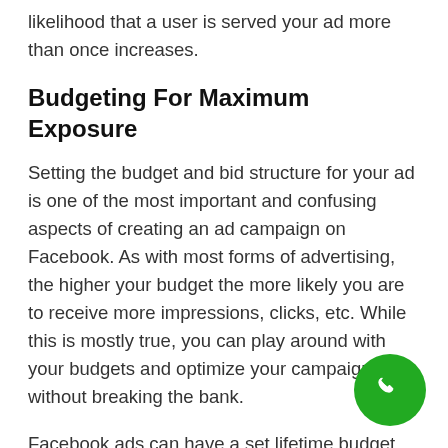likelihood that a user is served your ad more than once increases.
Budgeting For Maximum Exposure
Setting the budget and bid structure for your ad is one of the most important and confusing aspects of creating an ad campaign on Facebook. As with most forms of advertising, the higher your budget the more likely you are to receive more impressions, clicks, etc. While this is mostly true, you can play around with your budgets and optimize your campaign without breaking the bank.
Facebook ads can have a set lifetime budget, and/or a daily budget. Ads can also be scheduled with a set complete date, regardless of budget. This allows for advertisers to customize the time period of their campaign and control how much the ad spend will Facebook recommends setting a daily budget when you want to run your ad continuously, and setting a